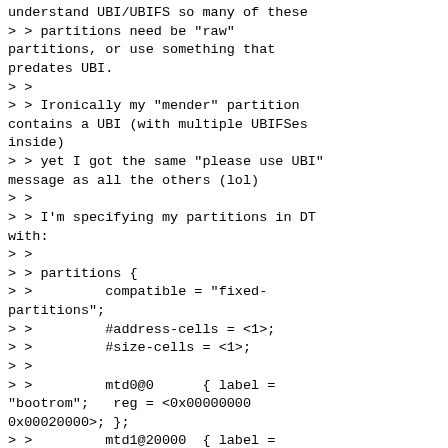understand UBI/UBIFS so many of these
> > partitions need be "raw"
partitions, or use something that
predates UBI.
> >
> > Ironically my "mender" partition
contains a UBI (with multiple UBIFSes
inside)
> > yet I got the same "please use UBI"
message as all the others (lol)
> >
> > I'm specifying my partitions in DT
with:
> >
> > partitions {
> >         compatible = "fixed-
partitions";
> >         #address-cells = <1>;
> >         #size-cells = <1>;
> >
> >         mtd0@0      { label =
"bootrom";   reg = <0x00000000
0x00020000>; };
> >         mtd1@20000  { label =
"uboot";     reg = <0x00020000
0x00060000>; };
> >         mtd2@80000  { label =
"fbkernel";  reg = <0x00080000
0x003c0000>; };
> >         mtd3@440000 { label =
"fbroot";    reg = <0x00440000